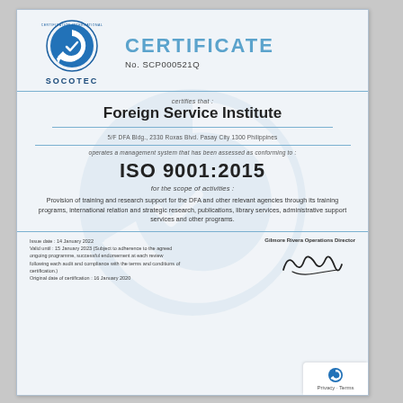[Figure (logo): SOCOTEC Certification International logo - blue circular arrow/check mark with text SOCOTEC below]
CERTIFICATE
No. SCP000521Q
certifies that :
Foreign Service Institute
5/F DFA Bldg., 2330 Roxas Blvd. Pasay City 1300 Philippines
operates a management system that has been assessed as conforming to :
ISO 9001:2015
for the scope of activities :
Provision of training and research support for the DFA and other relevant agencies through its training programs, international relation and strategic research, publications, library services, administrative support services and other programs.
Issue date : 14 January 2022
Valid until : 15 January 2023 (Subject to adherence to the agreed ongoing programme, successful endorsement at each review following each audit and compliance with the terms and conditions of certification.)
Original date of certification : 16 January 2020
Gilmore Rivera Operations Director